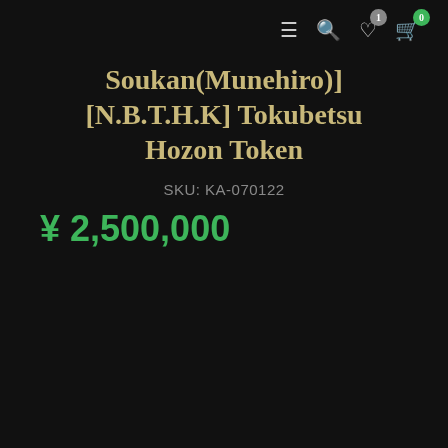menu search wishlist(1) cart(0)
Soukan(Munehiro)] [N.B.T.H.K] Tokubetsu Hozon Token
SKU: KA-070122
¥ 2,500,000